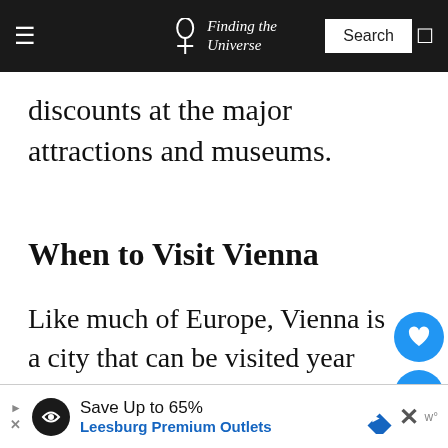Finding the Universe
discounts at the major attractions and museums.
When to Visit Vienna
Like much of Europe, Vienna is a city that can be visited year round. A gr many of the attractions are ind even if the weather isn't great, there will be no shortage of sights to see.
Save Up to 65% Leesburg Premium Outlets